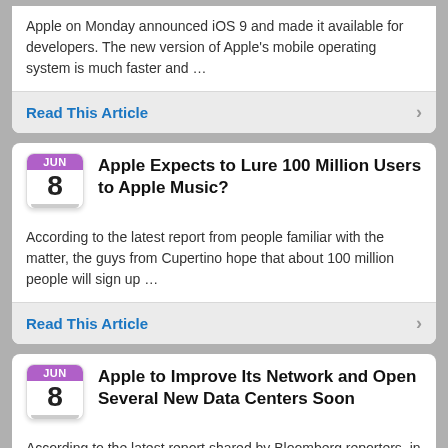Apple on Monday announced iOS 9 and made it available for developers. The new version of Apple's mobile operating system is much faster and …
Read This Article
Apple Expects to Lure 100 Million Users to Apple Music?
According to the latest report from people familiar with the matter, the guys from Cupertino hope that about 100 million people will sign up …
Read This Article
Apple to Improve Its Network and Open Several New Data Centers Soon
According to the latest report shared by Bloomberg reporters, in the near future Apple may significantly improve its high-speed network used for making all